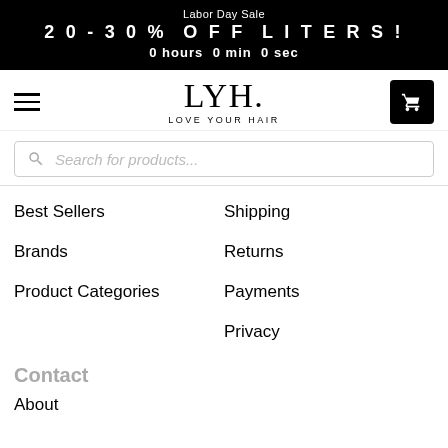Labor Day Sale
20-30% OFF LITERS!
0 hours 0 min 0 sec
[Figure (logo): LYH. Love Your Hair logo with hamburger menu and cart icon]
Search for products...
Best Sellers
Shipping
Brands
Returns
Product Categories
Payments
Privacy
Contact
About